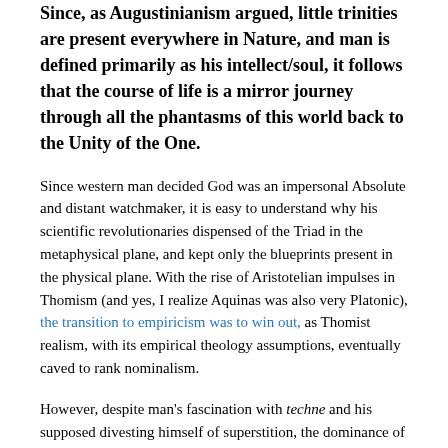Since, as Augustinianism argued, little trinities are present everywhere in Nature, and man is defined primarily as his intellect/soul, it follows that the course of life is a mirror journey through all the phantasms of this world back to the Unity of the One.
Since western man decided God was an impersonal Absolute and distant watchmaker, it is easy to understand why his scientific revolutionaries dispensed of the Triad in the metaphysical plane, and kept only the blueprints present in the physical plane. With the rise of Aristotelian impulses in Thomism (and yes, I realize Aquinas was also very Platonic), the transition to empiricism was to win out, as Thomist realism, with its empirical theology assumptions, eventually caved to rank nominalism.
However, despite man's fascination with techne and his supposed divesting himself of superstition, the dominance of numeric, philosophical one and many dialectics plagues him more than ever. The specter of numbers themselves haunt man, as he has capitulated to the quantification of all things, as if this